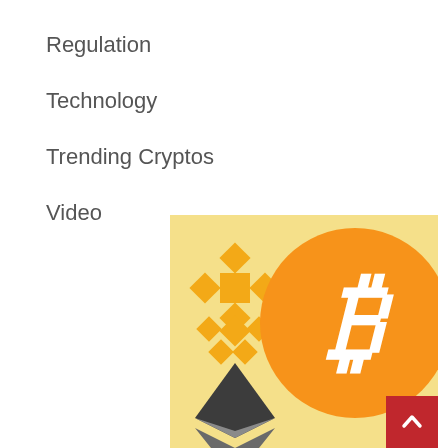Regulation
Technology
Trending Cryptos
Video
[Figure (illustration): Cryptocurrency logos illustration showing Binance (BNB) logo in gold/yellow on the left, Bitcoin (BTC) orange coin with white B symbol in the center-right, and Ethereum (ETH) dark geometric diamond shape in the bottom-left, all on a light yellow background.]